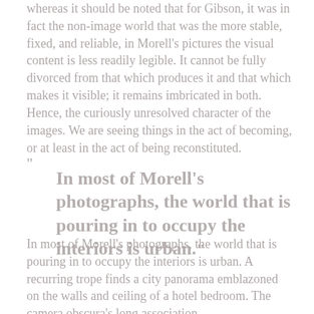whereas it should be noted that for Gibson, it was in fact the non-image world that was the more stable, fixed, and reliable, in Morell's pictures the visual content is less readily legible. It cannot be fully divorced from that which produces it and that which makes it visible; it remains imbricated in both. Hence, the curiously unresolved character of the images. We are seeing things in the act of becoming, or at least in the act of being reconstituted.
In most of Morell's photographs, the world that is pouring in to occupy the interiors is urban.
In most of Morell's photographs, the world that is pouring in to occupy the interiors is urban. A recurring trope finds a city panorama emblazoned on the walls and ceiling of a hotel bedroom. The camera obscura's long association